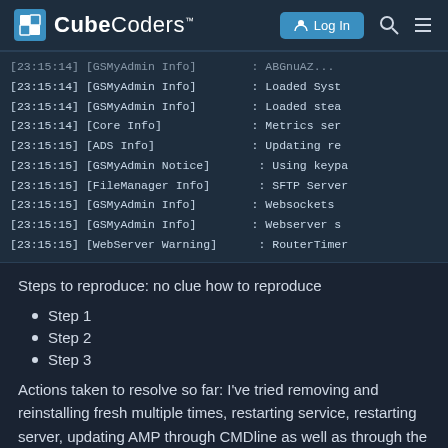CubeCoders™ — Log In
[Figure (screenshot): Terminal/console log output showing timestamped entries with module names and log levels, including GSMyAdmin Info, Core Info, ADS Info, FileManager Info, WebServer Warning messages]
Steps to reproduce: no clue how to reproduce
Step 1
Step 2
Step 3
Actions taken to resolve so far: I've tried removing and reinstalling fresh multiple times, restarting service, restarting server, updating AMP through CMDline as well as through the